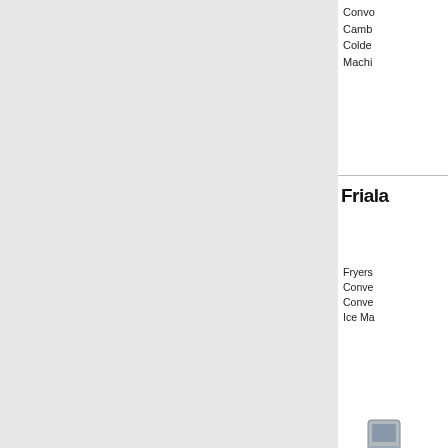Convection Ovens
Cambromat
Coldex
Machinery
Frialator
Fryers
Convection Ovens
Convection
Ice Machines
[Figure (logo): Frialator International - A Middleby Company logo, with bold blue italic Frialator text, INTERNATIONAL in spaced caps beneath a horizontal line, and A Middleby Company in smaller italic text]
[Figure (photo): A fryer or commercial kitchen equipment unit, gray metallic]
[Figure (logo): Blue rectangular logo, partially visible]
[Figure (logo): Red rectangular logo with white letter M, partially visible]
[Figure (logo): Dark red/maroon rectangular logo, partially visible]
[Figure (logo): Red curved logo element, partially visible]